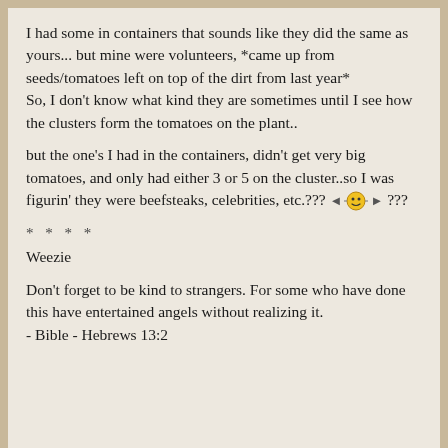I had some in containers that sounds like they did the same as yours... but mine were volunteers, *came up from seeds/tomatoes left on top of the dirt from last year*
So, I don't know what kind they are sometimes until I see how the clusters form the tomatoes on the plant..
but the one's I had in the containers, didn't get very big tomatoes, and only had either 3 or 5 on the cluster..so I was figurin' they were beefsteaks, celebrities, etc.??? [emoji] ???
* * * *
Weezie
Don't forget to be kind to strangers. For some who have done this have entertained angels without realizing it.
- Bible - Hebrews 13:2